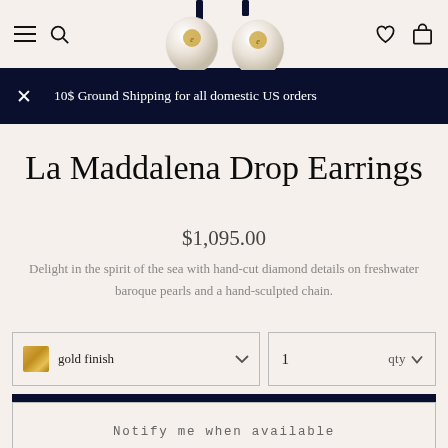Navigation header with menu, search, wishlist, and bag icons
10$ Ground Shipping for all domestic US orders
La Maddalena Drop Earrings
$1,095.00
Delight in the spirit of the sea with hand-cut diamond details on freshwater baroque pearls and a hand-sculpted chain.
gold finish
1  qty
Sold out
Notify me when available